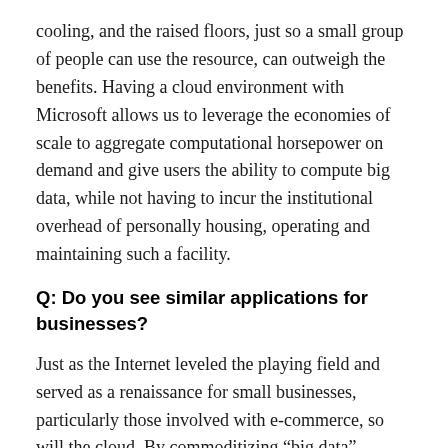cooling, and the raised floors, just so a small group of people can use the resource, can outweigh the benefits. Having a cloud environment with Microsoft allows us to leverage the economies of scale to aggregate computational horsepower on demand and give users the ability to compute big data, while not having to incur the institutional overhead of personally housing, operating and maintaining such a facility.
Q: Do you see similar applications for businesses?
Just as the Internet leveled the playing field and served as a renaissance for small businesses, particularly those involved with e-commerce, so will the cloud. By commoditizing “big data” analytics in the cloud, small businesses will be able to intelligently mine data to extract insight with activities, such as supply-chain economics and personalized marketing and advertising.
Furthermore, quantitative analytic tools, such as Excel